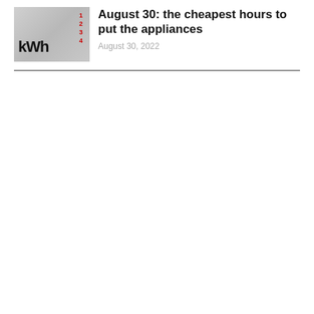[Figure (photo): Thumbnail photo of an electricity meter showing 'kWh' in bold black text and red numeric scale markings (1, 2, 3, 4) on a grey background.]
August 30: the cheapest hours to put the appliances
August 30, 2022